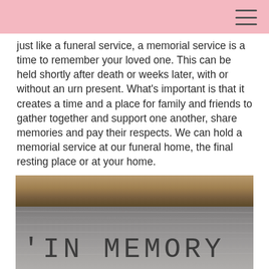just like a funeral service, a memorial service is a time to remember your loved one. This can be held shortly after death or weeks later, with or without an urn present. What’s important is that it creates a time and a place for family and friends to gather together and support one another, share memories and pay their respects. We can hold a memorial service at our funeral home, the final resting place or at your home.
[Figure (photo): Close-up photograph of a weathered wooden surface with the words 'IN MEMORY' carved or engraved into it, showing the top edge of a book or wooden block above.]